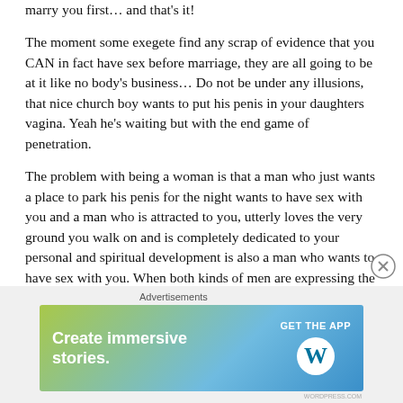marry you first… and that's it!
The moment some exegete find any scrap of evidence that you CAN in fact have sex before marriage, they are all going to be at it like no body's business… Do not be under any illusions, that nice church boy wants to put his penis in your daughters vagina. Yeah he's waiting but with the end game of penetration.
The problem with being a woman is that a man who just wants a place to park his penis for the night wants to have sex with you and a man who is attracted to you, utterly loves the very ground you walk on and is completely dedicated to your personal and spiritual development is also a man who wants to have sex with you. When both kinds of men are expressing the same
[Figure (screenshot): Advertisement banner for WordPress app: 'Create immersive stories. GET THE APP' with WordPress logo]